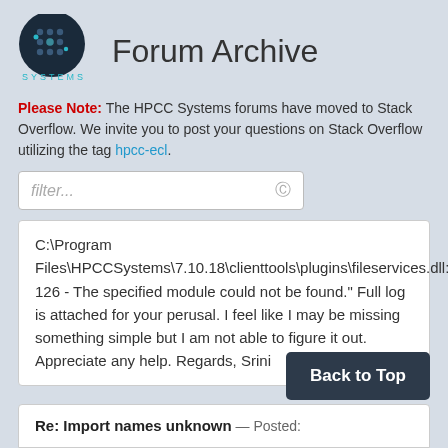[Figure (logo): HPCC Systems logo — dark blue circle with dot pattern and teal accent dots]
Forum Archive
Please Note: The HPCC Systems forums have moved to Stack Overflow. We invite you to post your questions on Stack Overflow utilizing the tag hpcc-ecl.
filter...
C:\Program Files\HPCCSystems\7.10.18\clienttools\plugins\fileservices.dll: 126 - The specified module could not be found." Full log is attached for your perusal. I feel like I may be missing something simple but I am not able to figure it out. Appreciate any help. Regards, Srini
Back to Top
Re: Import names unknown — Posted: